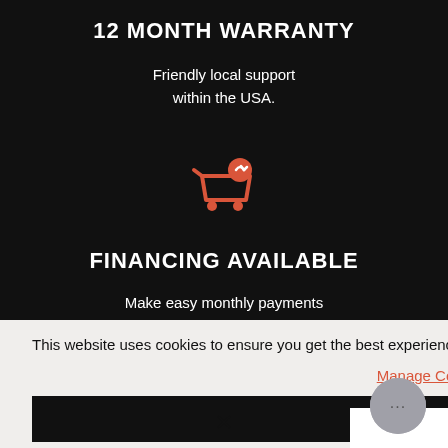12 MONTH WARRANTY
Friendly local support within the USA.
[Figure (illustration): Orange shopping cart icon with an arrow/share symbol]
FINANCING AVAILABLE
Make easy monthly payments
This website uses cookies to ensure you get the best experience on our website. Learn More
Manage Cookies
Decline
Allow All
[Figure (illustration): Gray circular chat bubble with ellipsis (...)]
×